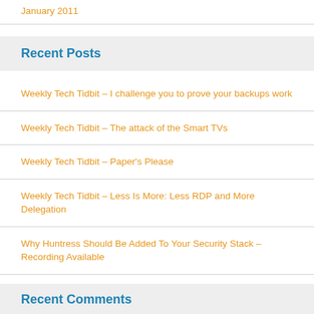January 2011
Recent Posts
Weekly Tech Tidbit – I challenge you to prove your backups work
Weekly Tech Tidbit – The attack of the Smart TVs
Weekly Tech Tidbit – Paper's Please
Weekly Tech Tidbit – Less Is More: Less RDP and More Delegation
Why Huntress Should Be Added To Your Security Stack – Recording Available
Recent Comments